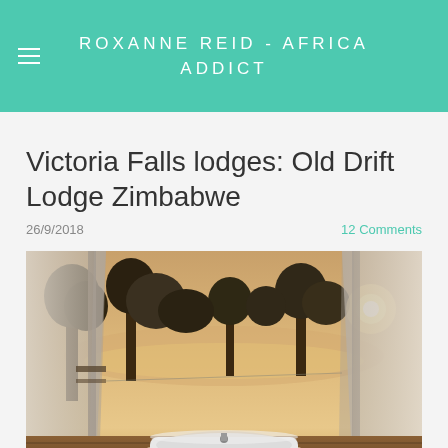ROXANNE REID - AFRICA ADDICT
Victoria Falls lodges: Old Drift Lodge Zimbabwe
26/9/2018
12 Comments
[Figure (photo): Outdoor bath/clawfoot tub on a wooden deck inside a safari tent, surrounded by white canvas curtains, with trees and a glowing sunset/river view in the background. A bottle and small items sit near the tub.]